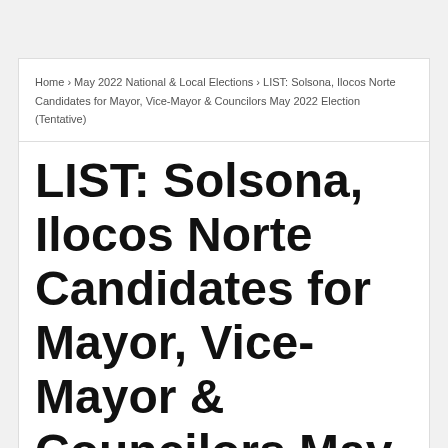Home › May 2022 National & Local Elections › LIST: Solsona, Ilocos Norte Candidates for Mayor, Vice-Mayor & Councilors May 2022 Election (Tentative)
LIST: Solsona, Ilocos Norte Candidates for Mayor, Vice-Mayor & Councilors May 2022 Election (Tentative)
Admin  November 16, 2021
MORE FROM AROUND THE WEB